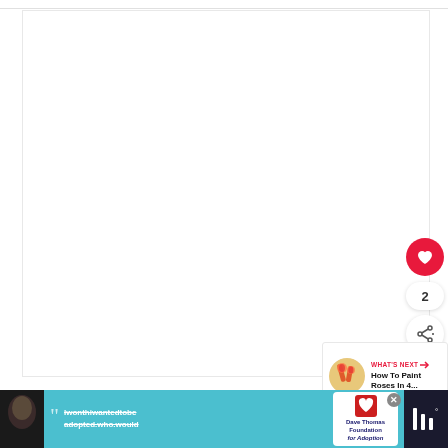[Figure (screenshot): White content area box, part of a web page screenshot with social interaction buttons]
[Figure (infographic): Red heart/like button (circular, red background with white heart icon)]
2
[Figure (infographic): Share button (circular, white background with share icon)]
[Figure (screenshot): What's Next panel showing thumbnail of roses painting article with label 'WHAT'S NEXT →' and title 'How To Paint Roses In 4...']
[Figure (screenshot): Advertisement banner at bottom: black and teal banner with woman photo, quote text 'Iwonthiwantedtobe adopted.who.would', Dave Thomas Foundation for Adoption logo, close button, and right side dark section]